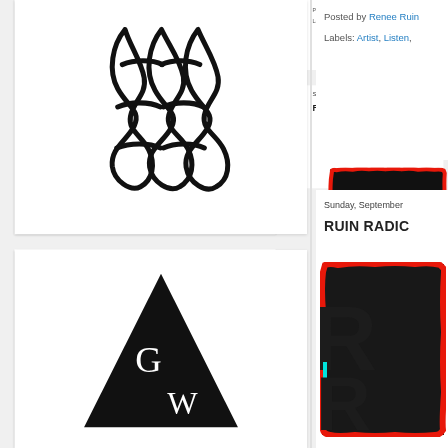[Figure (logo): Black decorative knotwork symbol on white background — three interlocking loops forming a symmetrical pattern]
[Figure (logo): Black triangle with white letters G and W inside, forming a logo on white background]
Posted by Renee Ruin
Labels: Artist, Listen,
Sunday, September
RUIN RADIO
[Figure (logo): Red rough-edged rectangular border with bold black letters partially visible — appears to be RUIN RADIO logo with cyan accent]